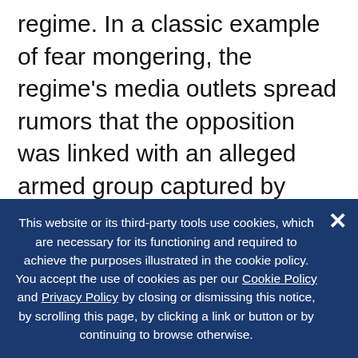regime. In a classic example of fear mongering, the regime's media outlets spread rumors that the opposition was linked with an alleged armed group captured by Armenia's successor of the KGB in Hollywood fashion, days prior to the referendum. Some opposition leaders were regularly called in for questioning by local police in connection with earlier (politically-motivated) cases. In the end, the opposition's inability to form a unified front and strategy of challenging the expected outcome is seen by some critics as the main explanation for the relatively weak public reaction to the mass fraud
This website or its third-party tools use cookies, which are necessary for its functioning and required to achieve the purposes illustrated in the cookie policy. You accept the use of cookies as per our Cookie Policy and Privacy Policy by closing or dismissing this notice, by scrolling this page, by clicking a link or button or by continuing to browse otherwise.